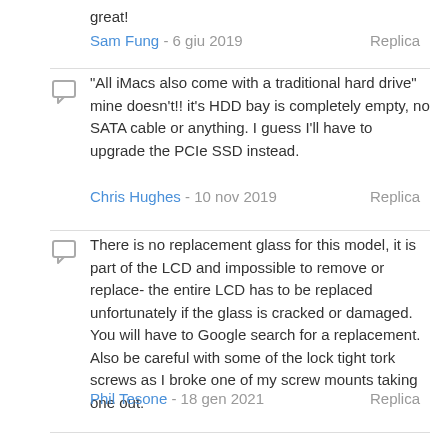great!
Sam Fung - 6 giu 2019   Replica
“All iMacs also come with a traditional hard drive” mine doesn’t!! it’s HDD bay is completely empty, no SATA cable or anything. I guess I’ll have to upgrade the PCIe SSD instead.
Chris Hughes - 10 nov 2019   Replica
There is no replacement glass for this model, it is part of the LCD and impossible to remove or replace- the entire LCD has to be replaced unfortunately if the glass is cracked or damaged. You will have to Google search for a replacement. Also be careful with some of the lock tight tork screws as I broke one of my screw mounts taking one out.
Phil Tesone - 18 gen 2021   Replica